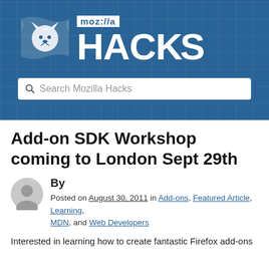[Figure (logo): Mozilla Hacks logo banner with blue grid background, white lion/Firefox icon, 'moz://a' text in white-on-blue box, and 'HACKS' in large white bold letters]
[Figure (other): Search bar with magnifying glass icon and placeholder text 'Search Mozilla Hacks']
Add-on SDK Workshop coming to London Sept 29th
By
Posted on August 30, 2011 in Add-ons, Featured Article, Learning, MDN, and Web Developers
Interested in learning how to create fantastic Firefox add-ons